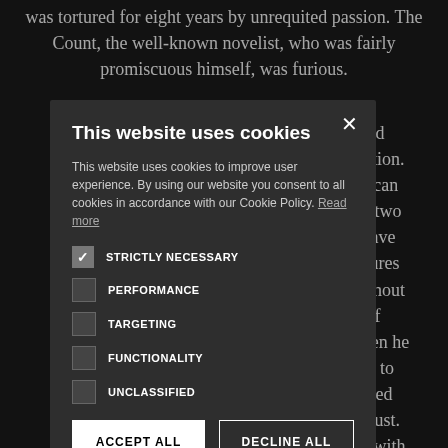was tortured for eight years by unrequited passion. The Count, the well-known novelist, who was fairly promiscuous himself, was furious.
en called description. a. This can middle two osers have nd textures Throughout ariety of ns. When he ws how to nd rugged and robust. larities with scale.
[Figure (screenshot): Cookie consent modal dialog with dark background. Title: 'This website uses cookies'. Body text explains cookie usage with a 'Read more' link. Five checkbox options: STRICTLY NECESSARY (checked), PERFORMANCE (unchecked), TARGETING (unchecked), FUNCTIONALITY (unchecked), UNCLASSIFIED (unchecked). Two buttons: ACCEPT ALL and DECLINE ALL. A gear icon with SHOW DETAILS at the bottom. X close button in top right.]